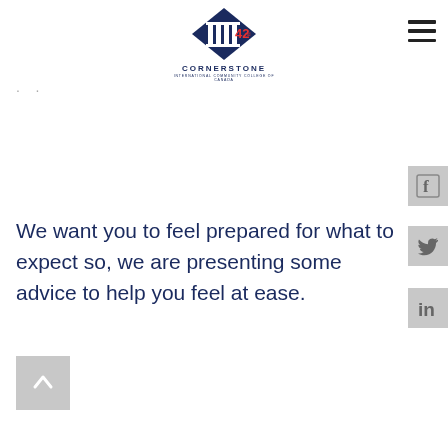[Figure (logo): Cornerstone International Community College of Canada logo — blue diamond shape with pillars and '42' text, with 'CORNERSTONE' wordmark below]
[Figure (other): Hamburger/menu icon (three horizontal lines) in top right]
· ·
[Figure (other): Facebook social media icon button (light gray background)]
[Figure (other): Twitter social media icon button (light gray background)]
[Figure (other): LinkedIn social media icon button (light gray background)]
We want you to feel prepared for what to expect so, we are presenting some advice to help you feel at ease.
[Figure (other): Scroll-to-top button (gray square with upward arrow)]